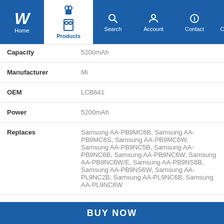W Home | Products | Search | Account | Contact | Cart Items 0
| Attribute | Value |
| --- | --- |
| Capacity | 5200mAh |
| Manufacturer | Mi |
| OEM | LCB641 |
| Power | 5200mAh |
| Replaces | Samsung AA-PB9MC6B, Samsung AA-PB9MC6S, Samsung AA-PB9MC6W, Samsung AA-PB9NC5B, Samsung AA-PB9NC6B, Samsung AA-PB9NC6W, Samsung AA-PB9NC6W/E, Samsung AA-PB9NS6B, Samsung AA-PB9NS6W, Samsung AA-PL9NC2B, Samsung AA-PL9NC6B, Samsung AA-PL9NC6W |
| Size | 46x20x204mm |
| Suits | Samsung 550P Series, NP300 series, NP550P5C Series, NP550P7C Series, NP-P510, NP-Q310-34G, |
BUY NOW